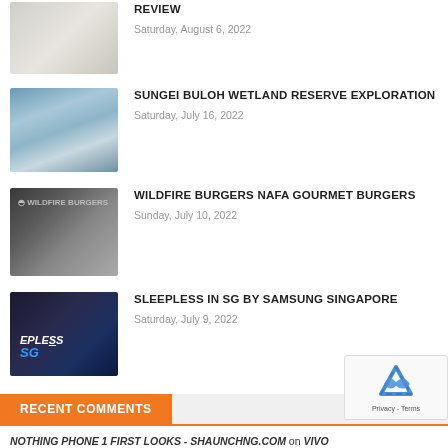[Figure (photo): Partial view of white cylindrical smart home devices on a surface with plants]
REVIEW
Saturday, August 6, 2022
[Figure (photo): Sungei Buloh wetland reserve with calm water reflecting cloudy sky and trees]
SUNGEI BULOH WETLAND RESERVE EXPLORATION
Saturday, July 16, 2022
[Figure (photo): Wildfire Burgers storefront at NAFA with glass entrance doors]
WILDFIRE BURGERS NAFA GOURMET BURGERS
Sunday, July 10, 2022
[Figure (photo): Sleepless in SG Samsung Singapore event space with blue lighting and signage]
SLEEPLESS IN SG BY SAMSUNG SINGAPORE
Saturday, July 9, 2022
RECENT COMMENTS
NOTHING PHONE 1 FIRST LOOKS - SHAUNCHNG.COM on VIVO REVIEW: AN AI WONDER FLAGSHIP